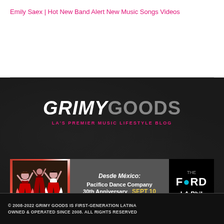Emily Saex | Hot New Band Alert New Music Songs Videos
[Figure (logo): Grimy Goods logo with tagline LA'S PREMIER MUSIC LIFESTYLE BLOG on dark textured background]
[Figure (infographic): Banner advertisement: Desde México: Pacifico Dance Company 30th Anniversary, SEPT 10, with photo of dancers in traditional costumes, Ford / LA Phil logos]
© 2008-2022 GRIMY GOODS IS FIRST-GENERATION LATINA OWNED & OPERATED SINCE 2008. ALL RIGHTS RESERVED